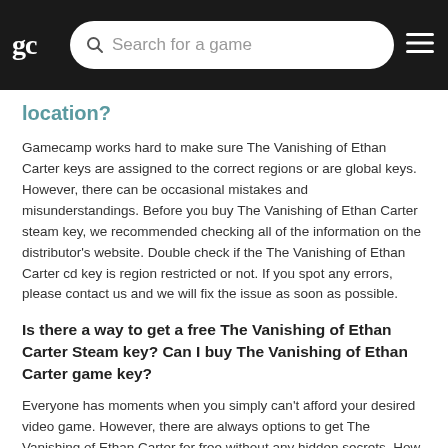gc | Search for a game | ☰
location?
Gamecamp works hard to make sure The Vanishing of Ethan Carter keys are assigned to the correct regions or are global keys. However, there can be occasional mistakes and misunderstandings. Before you buy The Vanishing of Ethan Carter steam key, we recommended checking all of the information on the distributor's website. Double check if the The Vanishing of Ethan Carter cd key is region restricted or not. If you spot any errors, please contact us and we will fix the issue as soon as possible.
Is there a way to get a free The Vanishing of Ethan Carter Steam key? Can I buy The Vanishing of Ethan Carter game key?
Everyone has moments when you simply can't afford your desired video game. However, there are always options to get The Vanishing of Ethan Carter for free without any hidden secrets. How to get games for free:
Sometimes, game stores give away games for free for a limited time. Game distributors like Humble Bundle, Indie Gala, Epic Games and even Steam do it regularly where you can get The Vanishing of Ethan Carter Steam key for free if you catch the correct timing. There's always a chance to spot The Vanishing of Ethan Carter game key and claim one for yourself. These giveaways happen almost every week. Don't miss your chance to get The Vanishing of Ethan Carter game